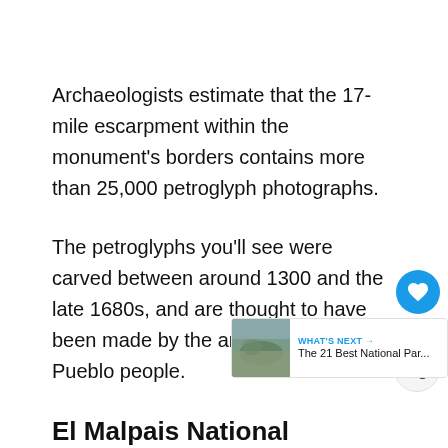Archaeologists estimate that the 17-mile escarpment within the monument's borders contains more than 25,000 petroglyph photographs.
The petroglyphs you'll see were carved between around 1300 and the late 1680s, and are thought to have been made by the ancestors of today's Pueblo people.
El Malpais National Monument
El Malpais' richly varied volcanic landscape ... isolation, leisure, and exploration. Discover ... cones, lava tube caves, sandstone bluffs, and hiking